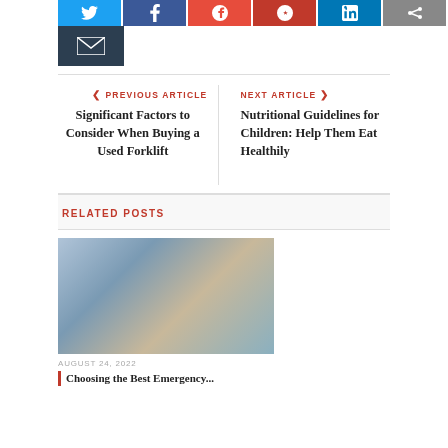[Figure (infographic): Social share buttons row: blue Twitter, navy Facebook, red Google+, dark red Pinterest, blue LinkedIn, gray share button, and a dark email button below]
PREVIOUS ARTICLE
Significant Factors to Consider When Buying a Used Forklift
NEXT ARTICLE
Nutritional Guidelines for Children: Help Them Eat Healthily
RELATED POSTS
[Figure (photo): A person holding a light bulb near a window with a city view in the background, photographed on August 24, 2022]
AUGUST 24, 2022
Choosing the Best Emergency...